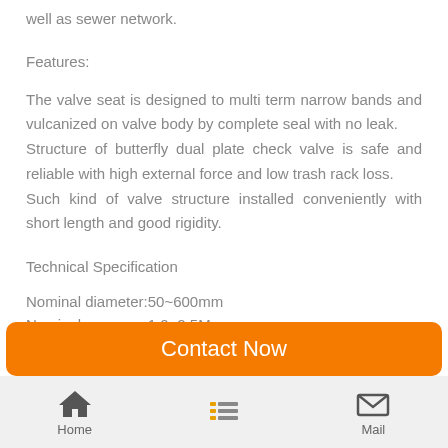well as sewer network.
Features:
The valve seat is designed to multi term narrow bands and vulcanized on valve body by complete seal with no leak.
Structure of butterfly dual plate check valve is safe and reliable with high external force and low trash rack loss.
Such kind of valve structure installed conveniently with short length and good rigidity.
Technical Specification
Nominal diameter:50~600mm
Nominal pressure:1.0~2.5Mpa
Contact Now
Home  Mail